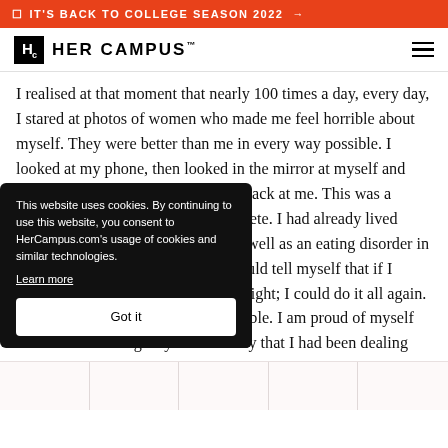IT'S BACK TO COLLEGE SEASON 2022 →
Hc HER CAMPUS™
I realised at that moment that nearly 100 times a day, every day, I stared at photos of women who made me feel horrible about myself. They were better than me in every way possible. I looked at my phone, then looked in the mirror at myself and was upset with what I saw looking back at me. This was a constant thought that I could not delete. I had already lived through undiagnosed depression as well as an eating disorder in the years previous. Sometimes I would tell myself that if I really wanted to, I could lose the weight; I could do it all again. But these thoughts were not acceptable. I am proud of myself for not succumbing. My [text obscured] ay that I had been dealing [text obscured] sh*t on a daily basis. No [text obscured] when I was constantly [text obscured] was not going to let this self-
This website uses cookies. By continuing to use this website, you consent to HerCampus.com's usage of cookies and similar technologies. Learn more Got it